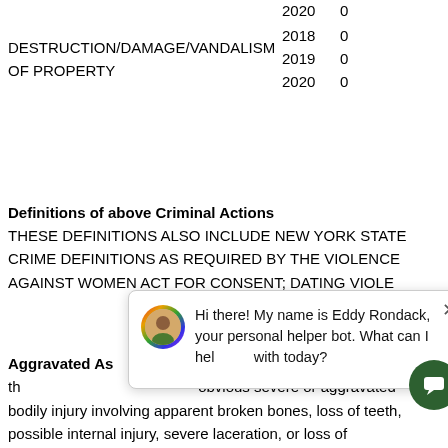| Crime | Year | Count |
| --- | --- | --- |
|  | 2020 | 0 |
| DESTRUCTION/DAMAGE/VANDALISM OF PROPERTY | 2018 | 0 |
|  | 2019 | 0 |
|  | 2020 | 0 |
Definitions of above Criminal Actions
THESE DEFINITIONS ALSO INCLUDE NEW YORK STATE CRIME DEFINITIONS AS REQUIRED BY THE VIOLENCE AGAINST WOMEN ACT FOR CONSENT; DATING VIOLENCE, DOMESTIC VIOLENCE, SEXUAL ASSAULT; AND
Aggravated Assault upon another with a weapon in a threatening manner causing obvious severe or aggravated bodily injury involving apparent broken bones, loss of teeth, possible internal injury, severe laceration, or loss of consciousness.
[Figure (screenshot): Chat popup overlay from Eddy Rondack helper bot with rainbow avatar and green chat icon button]